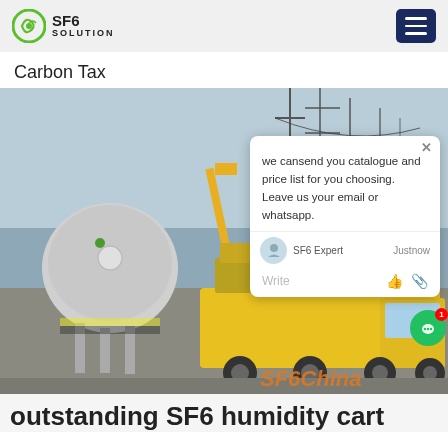[Figure (logo): SF6 Solution company logo with circular green icon and text SF6 SOLUTION]
[Figure (other): Hamburger menu button (navy blue)]
Carbon Tax
[Figure (photo): Photo of a yellow SF6 service truck at an electrical substation with overhead power lines and crane equipment. Watermark text SF6China in orange at bottom right. A chat popup overlay is visible on the right side.]
outstanding SF6 humidity cart